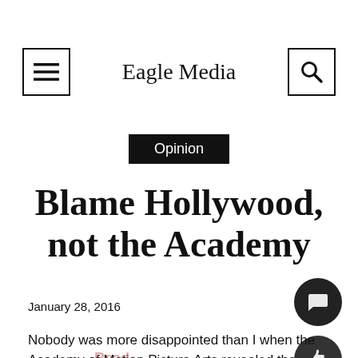Eagle Media
Opinion
Blame Hollywood, not the Academy
January 28, 2016
Nobody was more disappointed than I when the Academy of Motion Picture Arts revealed the nominations for the 88th Oscars Jan. 14.